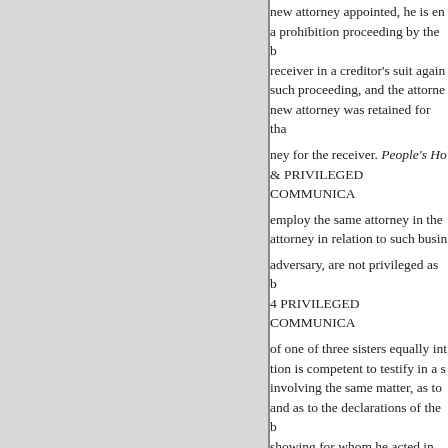new attorney appointed, he is en a prohibition proceeding by the b receiver in a creditor's suit again such proceeding, and the attorne new attorney was retained for tha
ney for the receiver. People's Ho & PRIVILEGED COMMUNICA
employ the same attorney in the attorney in relation to such busin
adversary, are not privileged as b 4 PRIVILEGED COMMUNICA
of one of three sisters equally int tion is competent to testify in a s involving the same matter, as to and as to the declarations of the b showing for whom he acted in en the litigation. Seip's Estate, 803.
See AGENCY, 4.
ATTORNEY'S FEES.
See HUSBAND AND WIFE, 6.